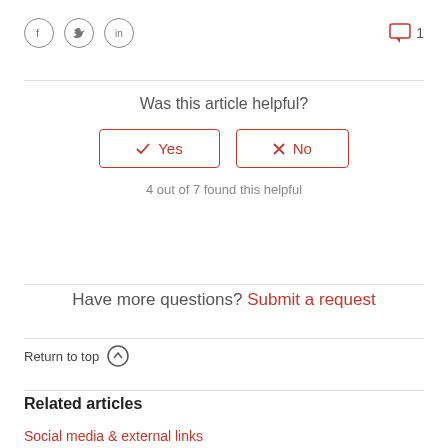[Figure (other): Social media share icons: Facebook, Twitter, LinkedIn circles, and a comment icon with count 1]
Was this article helpful?
Yes  No
4 out of 7 found this helpful
Have more questions? Submit a request
Return to top ↑
Related articles
Social media & external links